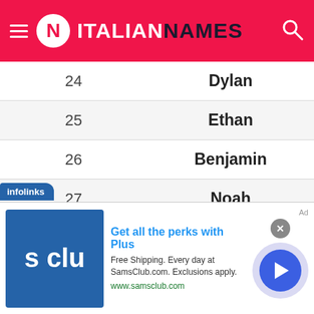ITALIANNAMES
| # | Name |
| --- | --- |
| 24 | Dylan |
| 25 | Ethan |
| 26 | Benjamin |
| 27 | Noah |
| 28 | Samuel |
| 29 | Robert |
| 30 | Jose |
| 31 | Kevin |
| 32 | Nathan |
[Figure (screenshot): Advertisement banner for SamsClub.com: Get all the perks with Plus. Free Shipping. Every day at SamsClub.com. Exclusions apply. www.samsclub.com]